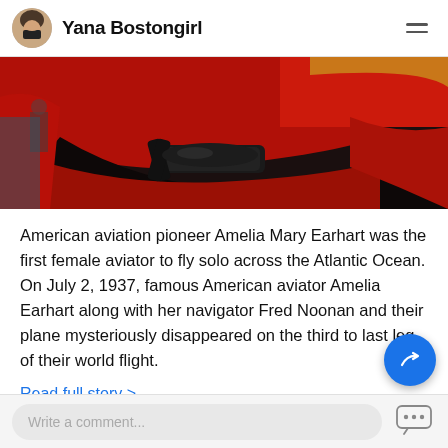Yana Bostongirl
[Figure (photo): Close-up photo of a red aircraft fuselage with a propeller engine, viewed from below at an angle, in what appears to be a hangar or outdoor setting.]
American aviation pioneer Amelia Mary Earhart was the first female aviator to fly solo across the Atlantic Ocean. On July 2, 1937, famous American aviator Amelia Earhart along with her navigator Fred Noonan and their plane mysteriously disappeared on the third to last leg of their world flight.
Read full story >
185 comments